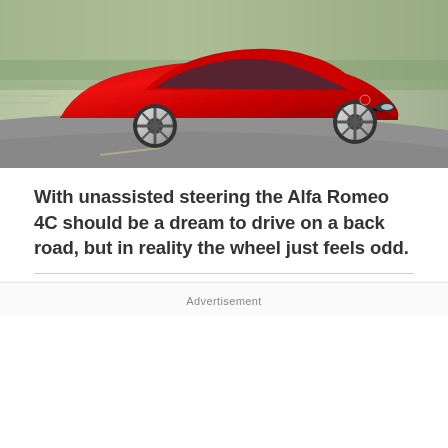[Figure (photo): Red Alfa Romeo 4C sports car photographed from the front-left angle while driving on a winding road, with motion-blurred background. The car is bright red with distinctive Alfa Romeo grille and headlights.]
With unassisted steering the Alfa Romeo 4C should be a dream to drive on a back road, but in reality the wheel just feels odd.
Advertisement